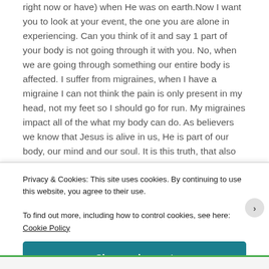right now or have) when He was on earth.Now I want you to look at your event, the one you are alone in experiencing. Can you think of it and say 1 part of your body is not going through it with you. No, when we are going through something our entire body is affected. I suffer from migraines, when I have a migraine I can not think the pain is only present in my head, not my feet so I should go for run. My migraines impact all of the what my body can do. As believers we know that Jesus is alive in us, He is part of our body, our mind and our soul. It is this truth, that also gives us the confidence
Privacy & Cookies: This site uses cookies. By continuing to use this website, you agree to their use.
To find out more, including how to control cookies, see here: Cookie Policy
Close and accept